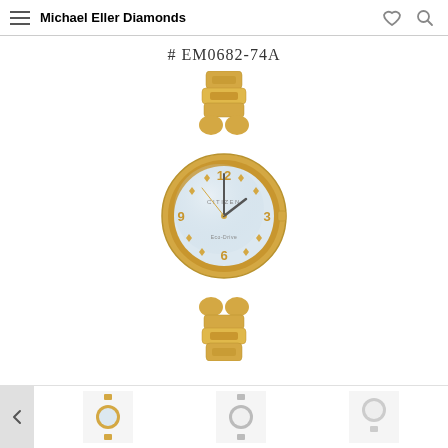Michael Eller Diamonds
# EM0682-74A
[Figure (photo): Gold-tone Citizen Eco-Drive women's watch (model EM0682-74A) with a gold stainless steel bracelet and case, white/silver mother-of-pearl dial, gold Arabic numerals at 12, 3, 6, and 9, gold diamond-shaped hour markers, and gold hands. The watch is displayed against a white background.]
[Figure (photo): Thumbnail carousel showing four small product images including alternate views of watches and jewelry.]